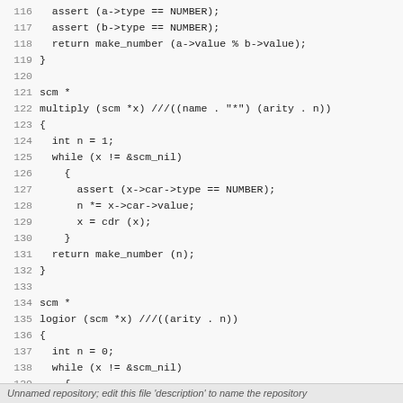Code listing lines 116-145 showing C functions: modulo, multiply, logior
Unnamed repository; edit this file 'description' to name the repository